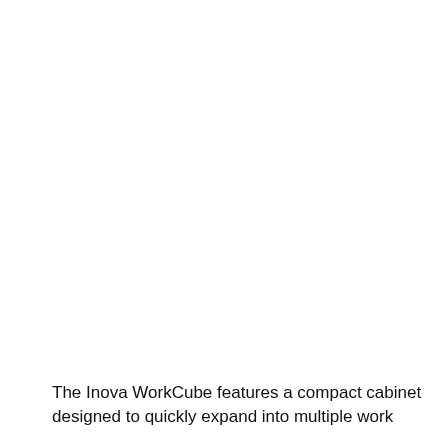The Inova WorkCube features a compact cabinet designed to quickly expand into multiple work